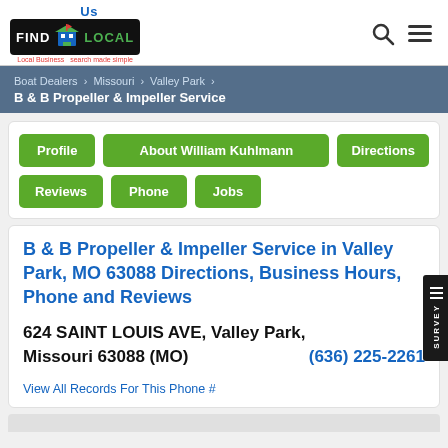[Figure (logo): FindUsLocal logo with building icon and tagline 'Local Business search made simple']
Boat Dealers > Missouri > Valley Park > B & B Propeller & Impeller Service
Profile | About William Kuhlmann | Directions | Reviews | Phone | Jobs
B & B Propeller & Impeller Service in Valley Park, MO 63088 Directions, Business Hours, Phone and Reviews
624 SAINT LOUIS AVE, Valley Park, Missouri 63088 (MO)   (636) 225-2261
View All Records For This Phone #